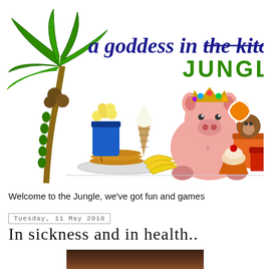[Figure (illustration): Blog header logo: 'a goddess in the kitchen JUNGLE' with cartoon illustration of a pig wearing a crown surrounded by food items (popcorn, ice cream, pancakes, bananas, apple, cupcake, candy, bear with bucket) and a palm tree on the left side.]
Welcome to the Jungle, we've got fun and games
Tuesday, 11 May 2010
In sickness and in health..
[Figure (photo): Partial photo visible at bottom of page, appears to be a food or cooking-related image with dark background.]